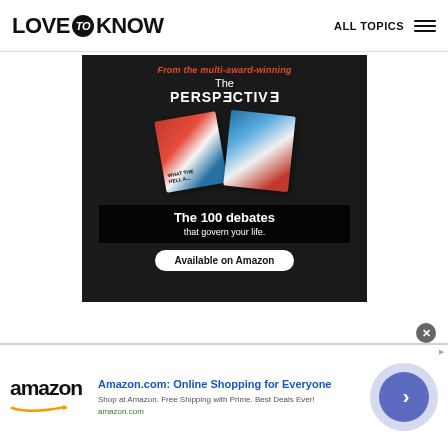LovetoKnow — ALL TOPICS
[Figure (illustration): Advertisement for 'The Perspective' book — 'From the multi-award-winning The PERSPECTIVE. What The Hell... The 100 debates that govern your life. Available on Amazon' — dark background with book cover showing red, white and blue design]
[Figure (illustration): Amazon.com advertisement banner — 'Amazon.com: Online Shopping for Everyone. Shop at Amazon. Free Shipping with Prime. Best Deals Ever! amazon.com' with Amazon logo and blue arrow button]